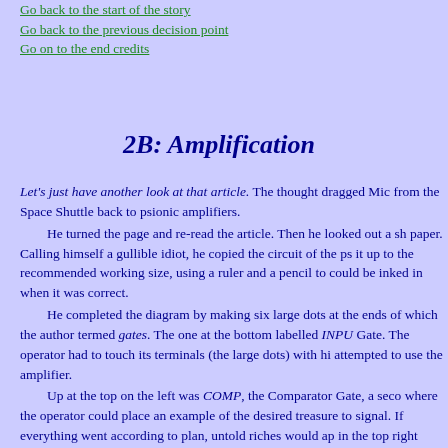Go back to the start of the story
Go back to the previous decision point
Go on to the end credits
2B: Amplification
Let's just have another look at that article. The thought dragged Mic from the Space Shuttle back to psionic amplifiers. He turned the page and re-read the article. Then he looked out a sh paper. Calling himself a gullible idiot, he copied the circuit of the ps it up to the recommended working size, using a ruler and a pencil to could be inked in when it was correct. He completed the diagram by making six large dots at the ends of which the author termed gates. The one at the bottom labelled INPU Gate. The operator had to touch its terminals (the large dots) with hi attempted to use the amplifier. Up at the top on the left was COMP, the Comparator Gate, a seco where the operator could place an example of the desired treasure to signal. If everything went according to plan, untold riches would ap in the top right corner, which was labelled OUT. This is strictly for fun, Darnby told himself when the ink was dry I've got to admit, the idea's daft enough to work. He folded his one and only £5 note twice and placed it across the Comparator Gate. He unplugged his headphones from the hi-fi and touched the dots of the Input Gate with his index finger and thumb.